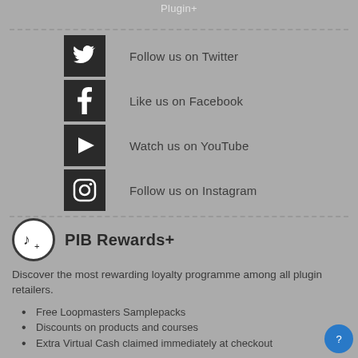Plugin+
Follow us on Twitter
Like us on Facebook
Watch us on YouTube
Follow us on Instagram
PIB Rewards+
Discover the most rewarding loyalty programme among all plugin retailers.
Free Loopmasters Samplepacks
Discounts on products and courses
Extra Virtual Cash claimed immediately at checkout